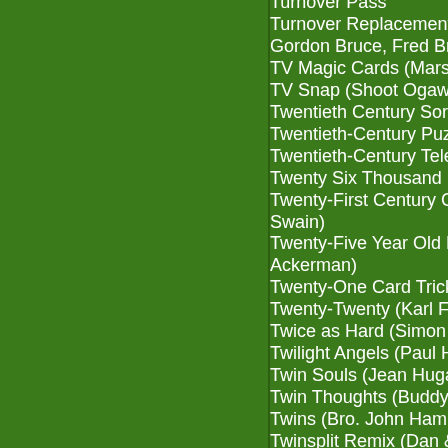Turnover Pass
Turnover Replacement, The (Jaun Tamariz, Gordon Bruce, Fred Braue)
TV Magic Cards (Marshall Brodien)
TV Snap (Shoot Ogawa)
Twentieth Century Sorcery (Charles T. ...)
Twentieth-Century Puzzle, The (Karl Fu...)
Twentieth-Century Telepathy (Karl Fulv...)
Twenty Six Thousand Dollars (Lennart...)
Twenty-First Century Cards Across (Ja... Swain)
Twenty-Five Year Old Brain Wave (Alla... Ackerman)
Twenty-One Card Trick
Twenty-Twenty (Karl Fulves)
Twice as Hard (Simon Aronson)
Twilight Angels (Paul Harris)
Twin Souls (Jean Hugard)
Twin Thoughts (Buddy Ackner)
Twins (Bro. John Hamman)
Twinsplit Remix (Dan & Dave Buck)
Twist and Shout (Meir Yedid)
Twist on Simon (Joshua Jay / Michael ... Joel Givens)
Twisted Collectors (J.C. Wagner)
Twisted Flush (Bill Malone)
Twisted In The Middle (Larry Jennings...)